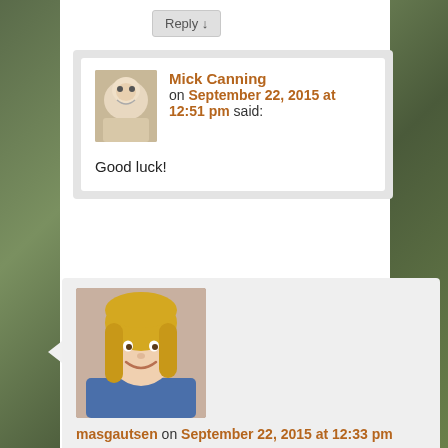Reply ↓
[Figure (photo): Avatar photo of a bird (pelican or similar) from above, Mick Canning profile picture]
Mick Canning on September 22, 2015 at 12:51 pm said:
Good luck!
[Figure (photo): Profile photo of masgautsen - young woman with blonde hair, wearing blue top, smiling]
masgautsen on September 22, 2015 at 12:33 pm said: This is very exciting and it looks great!